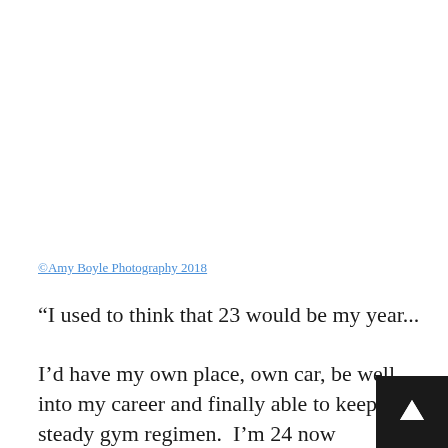©Amy Boyle Photography 2018
“I used to think that 23 would be my year...

I’d have my own place, own car, be well into my career and finally able to keep a steady gym regimen.  I’m 24 now stumbling sloppily into 25 and I’ve achieved n of the later.  Fingers crossed for 32.